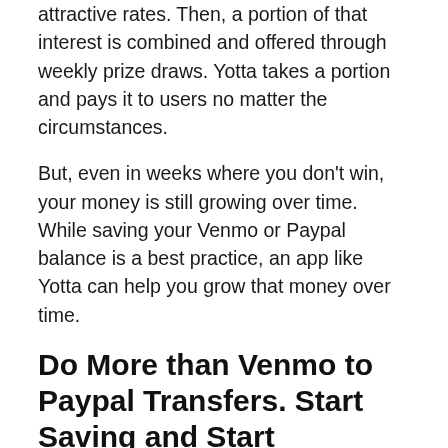attractive rates. Then, a portion of that interest is combined and offered through weekly prize draws. Yotta takes a portion and pays it to users no matter the circumstances.
But, even in weeks where you don't win, your money is still growing over time. While saving your Venmo or Paypal balance is a best practice, an app like Yotta can help you grow that money over time.
Do More than Venmo to Paypal Transfers. Start Saving and Start Winning!
Can you Venmo to Paypal? You nowknow the steps to do it! While transferring from Venmo to Paypal can be a good way to transfer money and